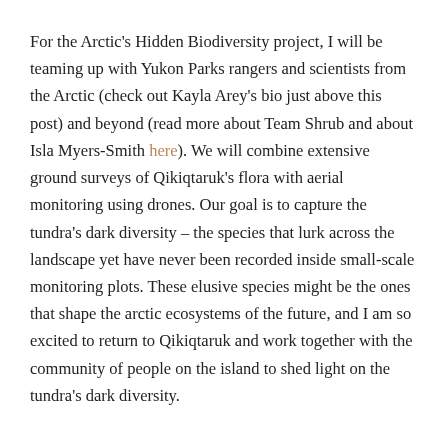For the Arctic's Hidden Biodiversity project, I will be teaming up with Yukon Parks rangers and scientists from the Arctic (check out Kayla Arey's bio just above this post) and beyond (read more about Team Shrub and about Isla Myers-Smith here). We will combine extensive ground surveys of Qikiqtaruk's flora with aerial monitoring using drones. Our goal is to capture the tundra's dark diversity – the species that lurk across the landscape yet have never been recorded inside small-scale monitoring plots. These elusive species might be the ones that shape the arctic ecosystems of the future, and I am so excited to return to Qikiqtaruk and work together with the community of people on the island to shed light on the tundra's dark diversity.